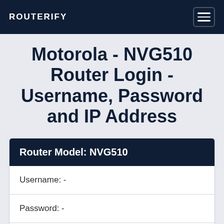ROUTERIFY
Motorola - NVG510 Router Login - Username, Password and IP Address
| Router Model: NVG510 |
| --- |
| Username: - |
| Password: - |
| IP Address: 192.168.1.254 | Login |